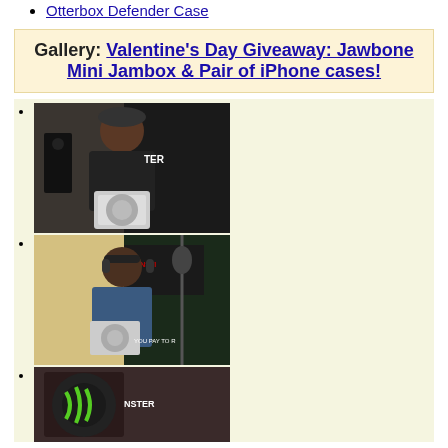Otterbox Defender Case
Gallery: Valentine's Day Giveaway: Jawbone Mini Jambox & Pair of iPhone cases!
[Figure (photo): Person holding a Jawbone Mini Jambox box at a Monster branded event]
[Figure (photo): Person wearing Monster headphones holding a Jawbone Mini Jambox at a Monster branded event]
[Figure (photo): Monster branded event photo partial view]